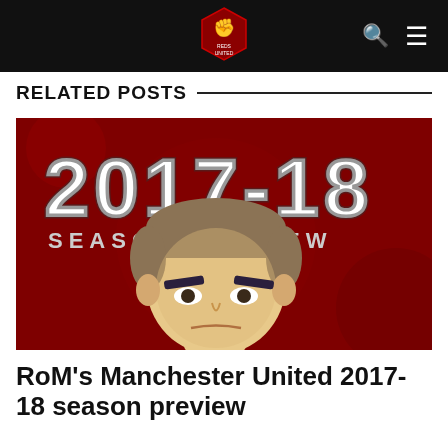REDS UNITED [logo] [search icon] [menu icon]
RELATED POSTS
[Figure (illustration): Red background illustration showing '2017-18 SEASON PREVIEW' text with a cartoon/flat-design illustration of a man's face (José Mourinho caricature) with dark eyebrows]
RoM's Manchester United 2017-18 season preview